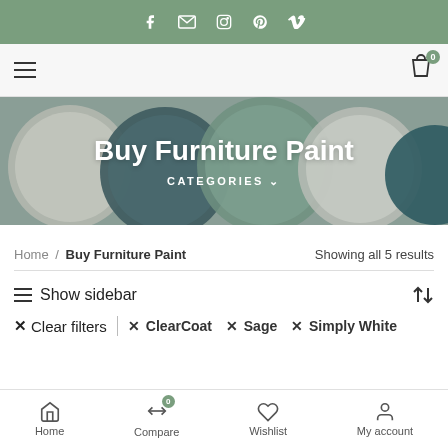Social bar with icons: Facebook, Email, Instagram, Pinterest, Vimeo
Navigation bar with hamburger menu and cart (0 items)
[Figure (photo): Hero banner with paint pot lids in various colors (grey, dark teal, sage green, light grey, teal) overlaid with large white bold text 'Buy Furniture Paint' and 'CATEGORIES' with dropdown arrow]
Home / Buy Furniture Paint    Showing all 5 results
☰ Show sidebar
× Clear filters  × ClearCoat  × Sage  × Simply White
Home  Compare (0)  Wishlist  My account